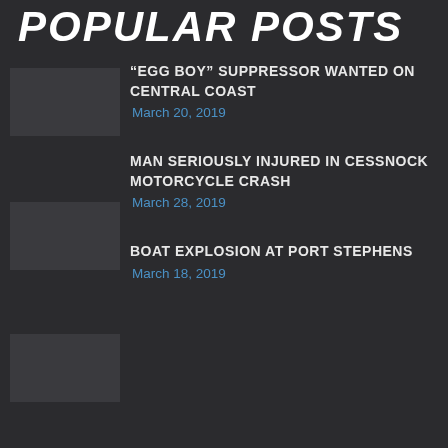POPULAR POSTS
“EGG BOY” SUPPRESSOR WANTED ON CENTRAL COAST
March 20, 2019
MAN SERIOUSLY INJURED IN CESSNOCK MOTORCYCLE CRASH
March 28, 2019
BOAT EXPLOSION AT PORT STEPHENS
March 18, 2019